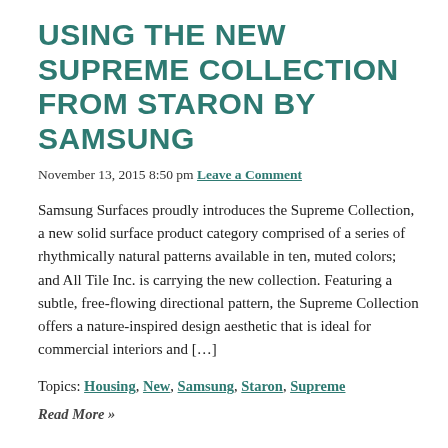USING THE NEW SUPREME COLLECTION FROM STARON BY SAMSUNG
November 13, 2015 8:50 pm Leave a Comment
Samsung Surfaces proudly introduces the Supreme Collection, a new solid surface product category comprised of a series of rhythmically natural patterns available in ten, muted colors; and All Tile Inc. is carrying the new collection. Featuring a subtle, free-flowing directional pattern, the Supreme Collection offers a nature-inspired design aesthetic that is ideal for commercial interiors and […]
Topics: Housing, New, Samsung, Staron, Supreme
Read More »